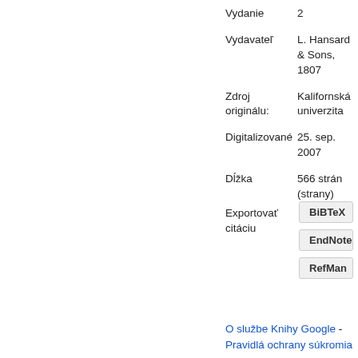| Label | Value |
| --- | --- |
| Vydanie | 2 |
| Vydavateľ | L. Hansard & Sons, 1807 |
| Zdroj originálu: | Kalifornská univerzita |
| Digitalizované | 25. sep. 2007 |
| Dĺžka | 566 strán (strany) |
Exportovať citáciu
BiBTeX
EndNote
RefMan
O službe Knihy Google - Pravidlá ochrany súkromia